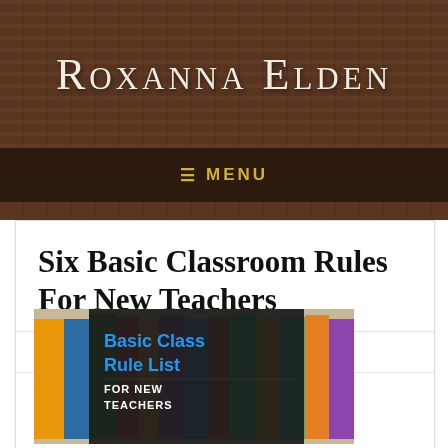Roxanna Elden
≡ MENU
Six Basic Classroom Rules For New Teachers
by roxannaelden
[Figure (photo): Book cover showing 'Basic Class Rule List for New Teachers' with books in the background]